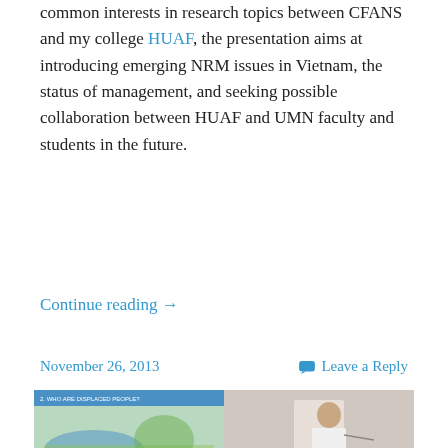common interests in research topics between CFANS and my college HUAF, the presentation aims at introducing emerging NRM issues in Vietnam, the status of management, and seeking possible collaboration between HUAF and UMN faculty and students in the future.
Continue reading →
November 26, 2013
Leave a Reply
CBFM for resettled communities in central Vietnam
[Figure (photo): A presentation scene showing a slide with a landscape/water image on the left and a man presenting on the right.]